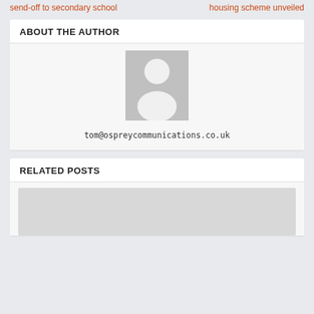send-off to secondary school
housing scheme unveiled
ABOUT THE AUTHOR
[Figure (illustration): Generic grey avatar/placeholder person silhouette icon]
tom@ospreycommunications.co.uk
RELATED POSTS
[Figure (photo): Grey placeholder image for a related post]